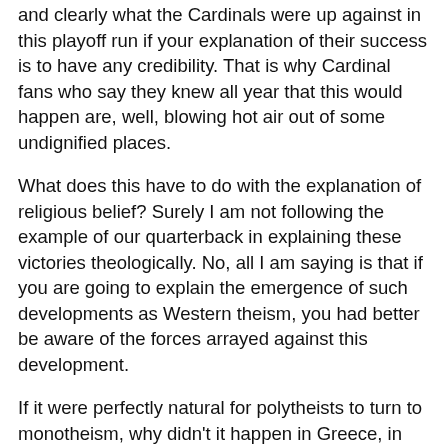and clearly what the Cardinals were up against in this playoff run if your explanation of their success is to have any credibility. That is why Cardinal fans who say they knew all year that this would happen are, well, blowing hot air out of some undignified places.
What does this have to do with the explanation of religious belief? Surely I am not following the example of our quarterback in explaining these victories theologically. No, all I am saying is that if you are going to explain the emergence of such developments as Western theism, you had better be aware of the forces arrayed against this development.
If it were perfectly natural for polytheists to turn to monotheism, why didn't it happen in Greece, in Rome, in Moab, in Babylonia, in Assyria, in Syria, amongst the Hittites, or the Scythians, or in India (where there was some development, but not classical monotheism) in China, or in Egypt? No, your explanation has to explain how it happened in Israel and why it didn't happen elsewhere. And if we look at the history of Israel, we find that the supporters of Hebrew monotheism had to fight a battle for it against what seemed like the forces of gravity dragging them back in to the